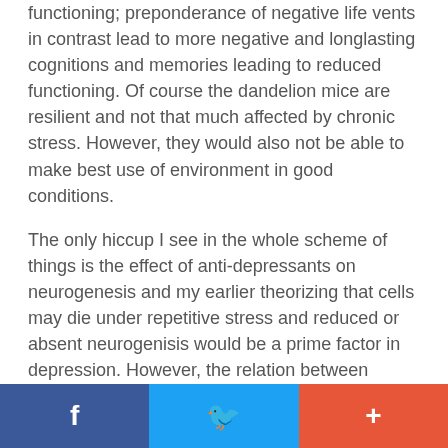functioning; preponderance of negative life vents in contrast lead to more negative and longlasting cognitions and memories leading to reduced functioning. Of course the dandelion mice are resilient and not that much affected by chronic stress. However, they would also not be able to make best use of environment in good conditions.
The only hiccup I see in the whole scheme of things is the effect of anti-depressants on neurogenesis and my earlier theorizing that cells may die under repetitive stress and reduced or absent neurogenisis would be a prime factor in depression. However, the relation between neurogenesis and stress will be , I am sure, complex and needs to be settled empirically, rather than theoretically.  However one thing is clear, neurogenesis has a rpime role to play in depression , mediated perhaps by, chronic stress exposure and genetic diatheisis (orchid-dandelion effect).
[Figure (infographic): Social sharing footer bar with three buttons: Facebook (blue), Twitter (light blue), and a plus/share button (red-orange)]